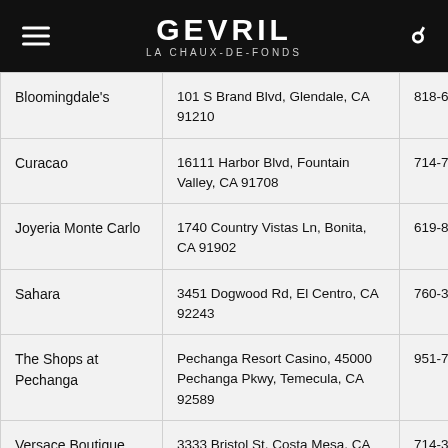GEVRIL LA CHAUX-DE-FONDS
| Store | Address | Phone |
| --- | --- | --- |
| Bloomingdale's | 101 S Brand Blvd, Glendale, CA 91210 | 818-638-4100 |
| Curacao | 16111 Harbor Blvd, Fountain Valley, CA 91708 | 714-775-9700 |
| Joyeria Monte Carlo | 1740 Country Vistas Ln, Bonita, CA 91902 | 619-869-1498 |
| Sahara | 3451 Dogwood Rd, El Centro, CA 92243 | 760-352-6111 |
| The Shops at Pechanga | Pechanga Resort Casino, 45000 Pechanga Pkwy, Temecula, CA 92589 | 951-770-2304 |
| Versace Boutique | 3333 Bristol St, Costa Mesa, CA | 714-380- |